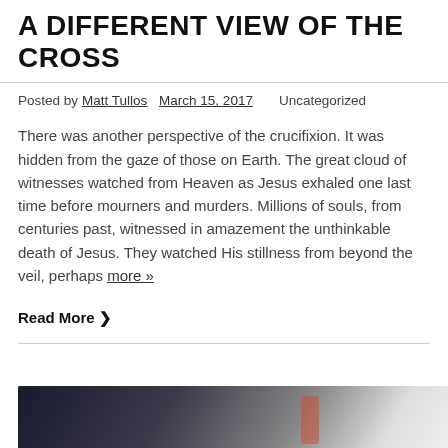A DIFFERENT VIEW OF THE CROSS
Posted by Matt Tullos March 15, 2017   Uncategorized
There was another perspective of the crucifixion. It was hidden from the gaze of those on Earth. The great cloud of witnesses watched from Heaven as Jesus exhaled one last time before mourners and murders. Millions of souls, from centuries past, witnessed in amazement the unthinkable death of Jesus. They watched His stillness from beyond the veil, perhaps more »
Read More ❯
[Figure (photo): Partially visible photograph at the bottom of the page, appearing to show a dark background with a reddish element.]